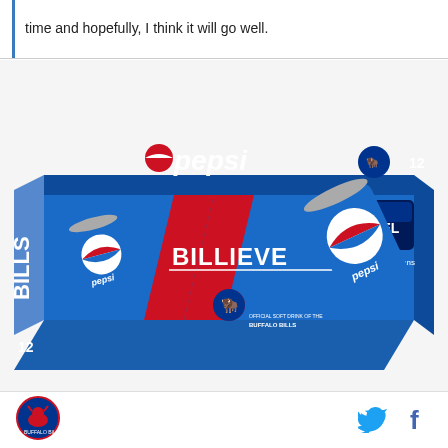time and hopefully, I think it will go well.
[Figure (photo): A Pepsi 12-can box with Buffalo Bills NFL branding. The box is royal blue with the Pepsi logo on top. Text on box reads BILLIEVE, OFFICIAL SOFT DRINK OF THE BUFFALO BILLS, NFL logo, 12 cans.]
[Figure (logo): Buffalo Bills circular team logo at bottom left]
[Figure (logo): Twitter bird icon and Facebook f icon at bottom right]